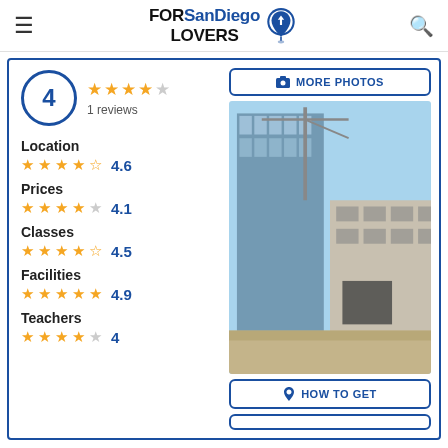FORSanDiego LOVERS
4 — 1 reviews — Overall rating with 4 out of 5 stars
Location 4.6
Prices 4.1
Classes 4.5
Facilities 4.9
Teachers 4
[Figure (photo): Exterior photo of a modern building with glass facade and concrete structure under blue sky]
MORE PHOTOS
HOW TO GET